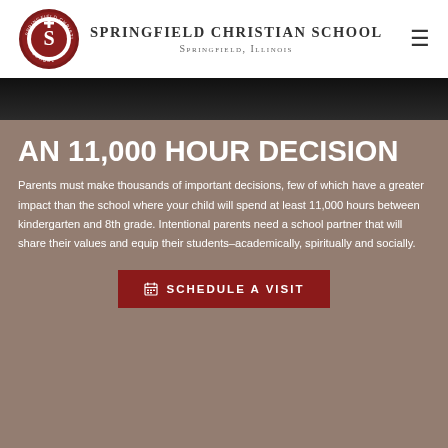Springfield Christian School — Springfield, Illinois
[Figure (photo): Dark/black photographic band, partial view of a scene]
AN 11,000 HOUR DECISION
Parents must make thousands of important decisions, few of which have a greater impact than the school where your child will spend at least 11,000 hours between kindergarten and 8th grade. Intentional parents need a school partner that will share their values and equip their students–academically, spiritually and socially.
SCHEDULE A VISIT